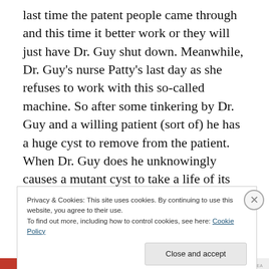last time the patent people came through and this time it better work or they will just have Dr. Guy shut down. Meanwhile, Dr. Guy's nurse Patty's last day as she refuses to work with this so-called machine. So after some tinkering by Dr. Guy and a willing patient (sort of) he has a huge cyst to remove from the patient. When Dr. Guy does he unknowingly causes a mutant cyst to take a life of its own and now the people in the office are trapped with this killer mutant cyst! Think of 'Attack of the Killer Donuts' but with a cyst as I give this glorious B-movieish creature feature 3 ½ stars.
Privacy & Cookies: This site uses cookies. By continuing to use this website, you agree to their use.
To find out more, including how to control cookies, see here: Cookie Policy
BURSTTHEA...